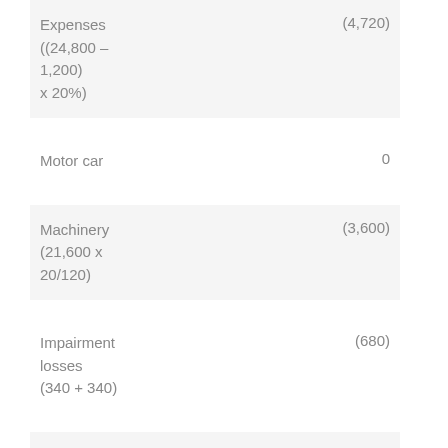| Description | Amount |
| --- | --- |
| Expenses ((24,800 – 1,200) x 20%) | (4,720) |
| Motor car | 0 |
| Machinery (21,600 x 20/120) | (3,600) |
| Impairment losses (340 + 340) | (680) |
| Telephone |  |